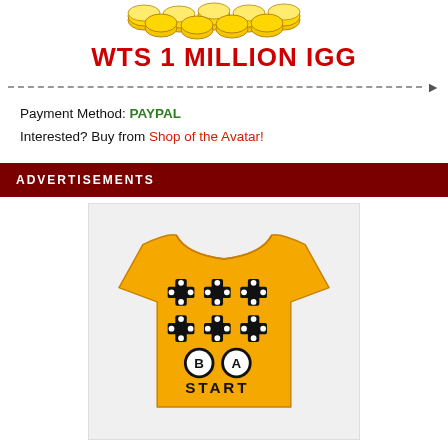[Figure (illustration): Gold coins pile image at the top]
WTS 1 MILLION IGG
Payment Method: PAYPAL
Interested? Buy from Shop of the Avatar!
ADVERTISEMENTS
[Figure (photo): Yellow t-shirt with retro game controller button design (directional pad crosses, B and A buttons, START text)]